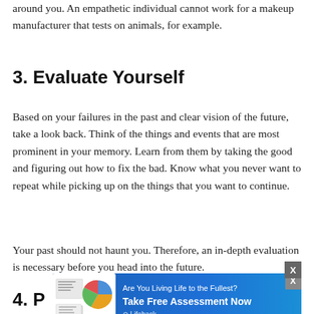around you. An empathetic individual cannot work for a makeup manufacturer that tests on animals, for example.
3. Evaluate Yourself
Based on your failures in the past and clear vision of the future, take a look back. Think of the things and events that are most prominent in your memory. Learn from them by taking the good and figuring out how to fix the bad. Know what you never want to repeat while picking up on the things that you want to continue.
Your past should not haunt you. Therefore, an in-depth evaluation is necessary before you head into the future.
[Figure (screenshot): Advertisement banner: 'Are You Living Life to the Fullest? Take Free Assessment Now' from Lifehack, with document/chart thumbnail image]
4. P...